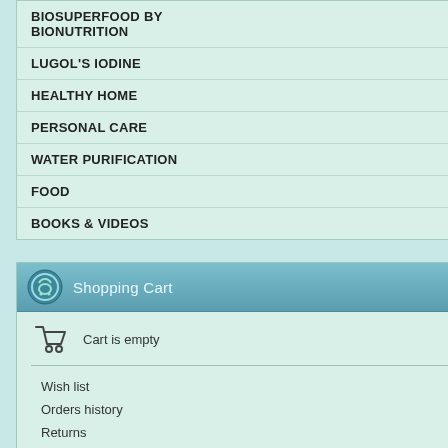BIOSUPERFOOD BY BIONUTRITION
LUGOL'S IODINE
HEALTHY HOME
PERSONAL CARE
WATER PURIFICATION
FOOD
BOOKS & VIDEOS
Shopping Cart
Cart is empty
Wish list
Orders history
Returns
Bonuses
View Cart
Checkout
Special
Gift certificates
Special offers